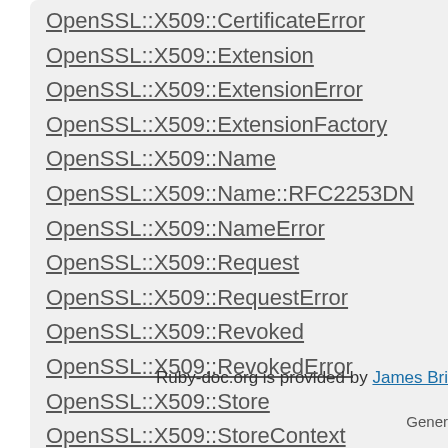OpenSSL::X509::CertificateError
OpenSSL::X509::Extension
OpenSSL::X509::ExtensionError
OpenSSL::X509::ExtensionFactory
OpenSSL::X509::Name
OpenSSL::X509::Name::RFC2253DN
OpenSSL::X509::NameError
OpenSSL::X509::Request
OpenSSL::X509::RequestError
OpenSSL::X509::Revoked
OpenSSL::X509::RevokedError
OpenSSL::X509::Store
OpenSSL::X509::StoreContext
OpenSSL::X509::StoreError
Ruby-doc.org is provided by James Bri
Gener